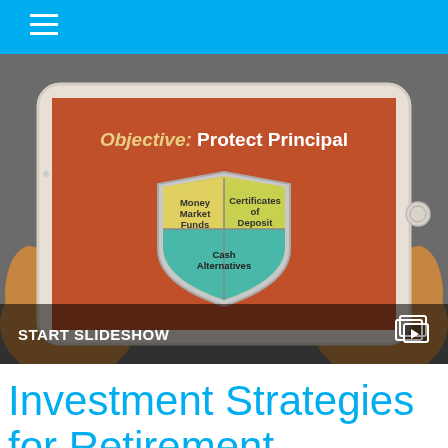[Figure (photo): Hands holding a tablet displaying a presentation slide titled 'Objective: Protect Principal' with a shield diagram showing three sections: Money Market Funds, Certificates of Deposit, and Cash Alternatives. Overlay at the bottom reads 'START SLIDESHOW' with a slideshow icon.]
Investment Strategies for Retirement